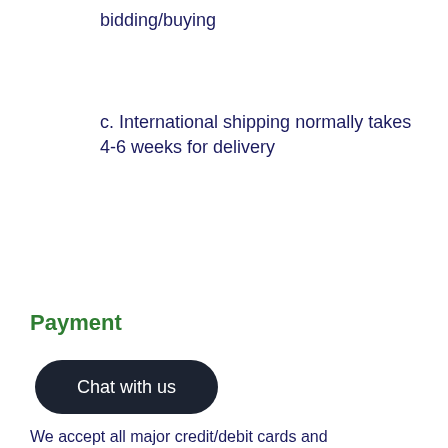bidding/buying
c. International shipping normally takes 4-6 weeks for delivery
Payment
[Figure (other): Dark rounded button labeled 'Chat with us']
We accept all major credit/debit cards and...